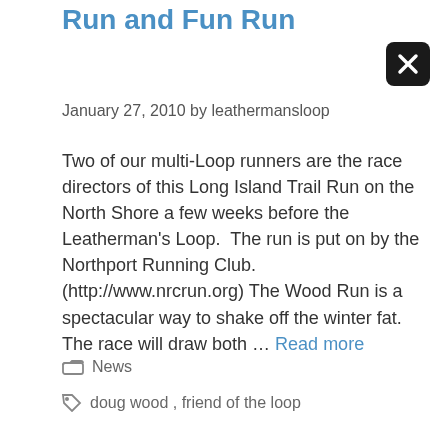Run and Fun Run
January 27, 2010 by leathermansloop
Two of our multi-Loop runners are the race directors of this Long Island Trail Run on the North Shore a few weeks before the Leatherman's Loop.  The run is put on by the Northport Running Club. (http://www.nrcrun.org) The Wood Run is a spectacular way to shake off the winter fat. The race will draw both … Read more
News
doug wood , friend of the loop